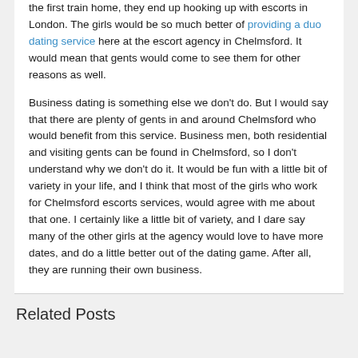the first train home, they end up hooking up with escorts in London. The girls would be so much better of providing a duo dating service here at the escort agency in Chelmsford. It would mean that gents would come to see them for other reasons as well.
Business dating is something else we don't do. But I would say that there are plenty of gents in and around Chelmsford who would benefit from this service. Business men, both residential and visiting gents can be found in Chelmsford, so I don't understand why we don't do it. It would be fun with a little bit of variety in your life, and I think that most of the girls who work for Chelmsford escorts services, would agree with me about that one. I certainly like a little bit of variety, and I dare say many of the other girls at the agency would love to have more dates, and do a little better out of the dating game. After all, they are running their own business.
Related Posts